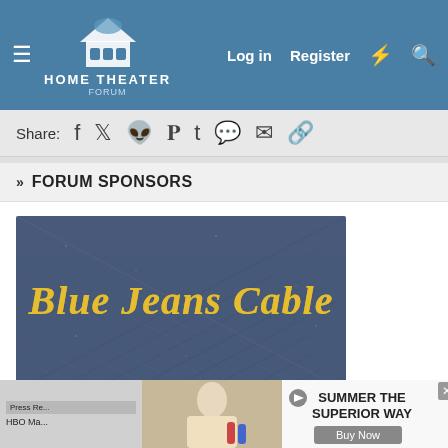Home Theater Forum — Log in | Register
Share:
» FORUM SPONSORS
[Figure (photo): Blue Jeans Cable advertisement banner — denim fabric texture background with gold italic text reading 'Blue Jeans Cable']
» SIMILAR THREADS
[Figure (screenshot): Advertisement banner at bottom of page: 'SUMMER THE SUPERIOR WAY' with Buy Now button, overlapping a partially visible forum post about HBO Max]